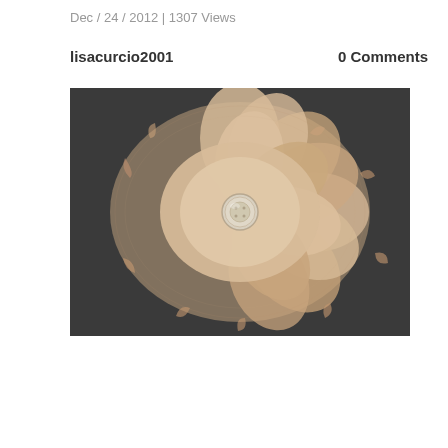Dec / 24 / 2012 | 1307 Views
lisacurcio2001
0 Comments
[Figure (photo): A beige/tan fabric flower with layered ruffled petals made of tulle and burlap-like material, with a small pearlescent button in the center, photographed on a dark grey/charcoal background.]